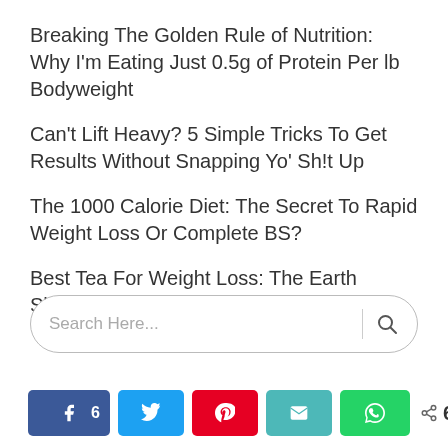Breaking The Golden Rule of Nutrition: Why I'm Eating Just 0.5g of Protein Per lb Bodyweight
Can't Lift Heavy? 5 Simple Tricks To Get Results Without Snapping Yo' Sh!t Up
The 1000 Calorie Diet: The Secret To Rapid Weight Loss Or Complete BS?
Best Tea For Weight Loss: The Earth Shattering Guide
[Figure (other): Search box with 'Search Here...' placeholder text and search icon]
[Figure (other): Social share bar with Facebook (6), Twitter, Pinterest, Email, WhatsApp buttons and total 6 SHARES count]